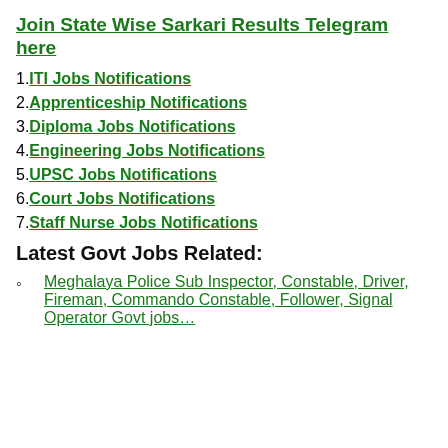Join State Wise Sarkari Results Telegram here
1. ITI Jobs Notifications
2. Apprenticeship Notifications
3. Diploma Jobs Notifications
4. Engineering Jobs Notifications
5. UPSC Jobs Notifications
6. Court Jobs Notifications
7. Staff Nurse Jobs Notifications
Latest Govt Jobs Related:
Meghalaya Police Sub Inspector, Constable, Driver, Fireman, Commando Constable, Follower, Signal Operator Govt jobs…